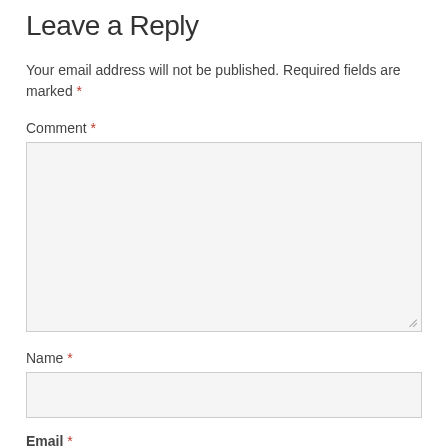Leave a Reply
Your email address will not be published. Required fields are marked *
Comment *
[Figure (other): Empty comment textarea input box with light gray background and resize handle]
Name *
[Figure (other): Empty name text input box with light gray background]
Email *